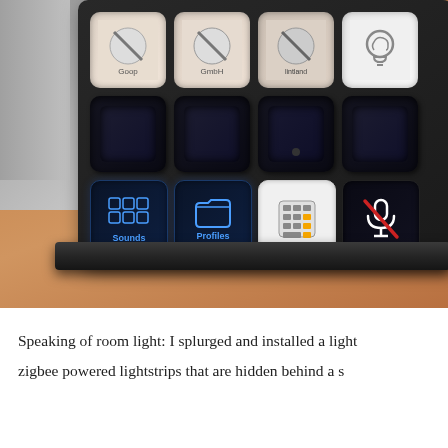[Figure (photo): Close-up photograph of a Stream Deck device (macro keypad with LCD keys) sitting on a wooden desk. The bottom row shows four illuminated keys: 'Sounds', 'Profiles', a calculator icon (white background), and a muted microphone icon. The upper rows show darker/unlit keys and some keys with small app icon images. A gray object is visible to the left.]
Speaking of room light: I splurged and installed a light zigbee powered lightstrips that are hidden behind a s